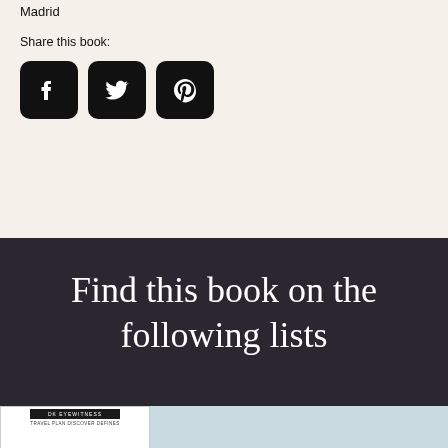Madrid
Share this book:
[Figure (illustration): Three social media icon buttons: Facebook, Twitter, and Pinterest, each as a black rounded-square icon with white symbol]
Find this book on the following lists
[Figure (illustration): Bottom strip showing book cover previews: left shows a white book cover with Eyewitness branding, right shows a light blue/teal panel]